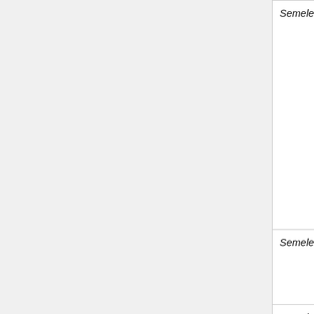| Title | HWV | Description | Notes |
| --- | --- | --- | --- |
| Semele | HWV 58 | Oratorio in three parts | 1744; CCARH edn. 200 by Frances Bennion Nicholas McGega and Eleanor Selfridge Field |
| Semele | HWV 58 | Full score |  |
| Semele | HWV 58 | Vocal/choral score |  |
|  | HWV |  | V1, V2, Va; Ob1, Ob2; Hrn 1, Hrn2... |